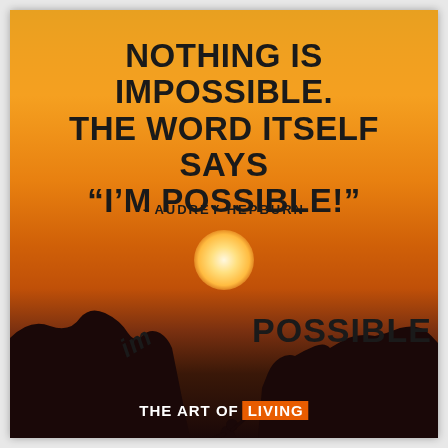[Figure (illustration): Motivational quote image with orange sunset sky background, silhouette of person leaping between two cliffs, with 'im' falling and 'POSSIBLE' on right cliff, branded The Art of Living]
NOTHING IS IMPOSSIBLE. THE WORD ITSELF SAYS “I’M POSSIBLE!”
- AUDREY HEPBURN
THE ART OF LIVING